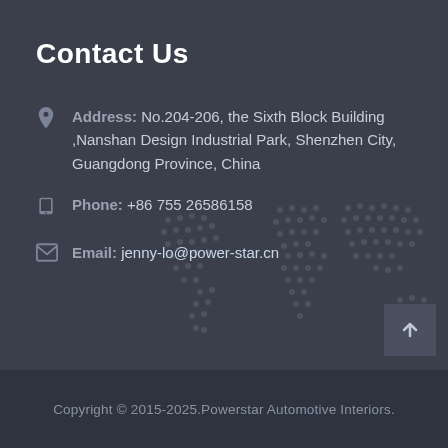Contact Us
Address: No.204-206, the Sixth Block Building ,Nanshan Design Industrial Park, Shenzhen City, Guangdong Province, China
Phone: +86 755 26586158
Email: jenny-lo@power-star.cn
[Figure (illustration): Dotted world map background watermark]
Copyright © 2015-2025.Powerstar Automotive Interiors.